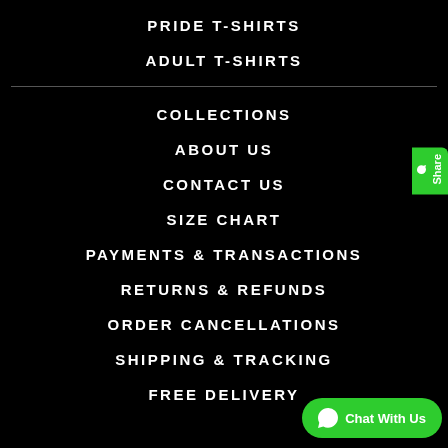PRIDE T-SHIRTS
ADULT T-SHIRTS
COLLECTIONS
ABOUT US
CONTACT US
SIZE CHART
PAYMENTS & TRANSACTIONS
RETURNS & REFUNDS
ORDER CANCELLATIONS
SHIPPING & TRACKING
FREE DELIVERY